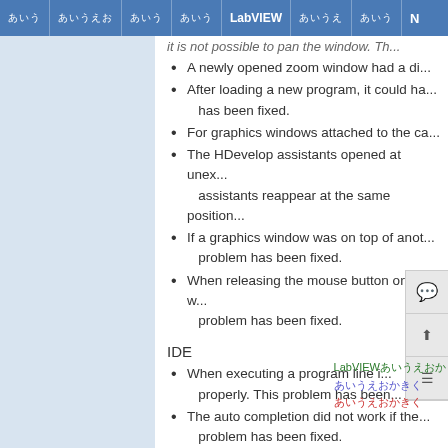Navigation bar with menu items including LabVIEW
A newly opened zoom window had a di...
After loading a new program, it could ha... has been fixed.
For graphics windows attached to the ca...
The HDevelop assistants opened at unex... assistants reappear at the same position...
If a graphics window was on top of anot... problem has been fixed.
When releasing the mouse button on a w... problem has been fixed.
IDE
When executing a program line i... properly. This problem has been...
The auto completion did not work if the... problem has been fixed.
LabVIEW (green), blue text, red text annotations
Language